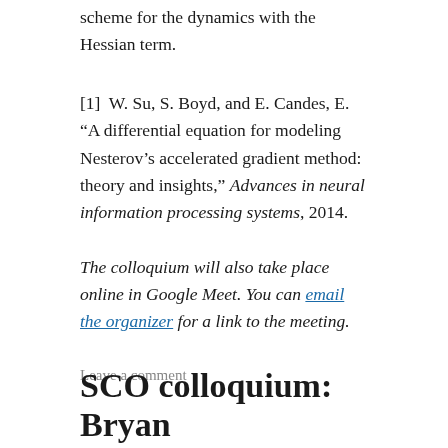scheme for the dynamics with the Hessian term.
[1]  W. Su, S. Boyd, and E. Candes, E. “A differential equation for modeling Nesterov’s accelerated gradient method: theory and insights,” Advances in neural information processing systems, 2014.
The colloquium will also take place online in Google Meet. You can email the organizer for a link to the meeting.
Leave a comment
SCO colloquium: Bryan